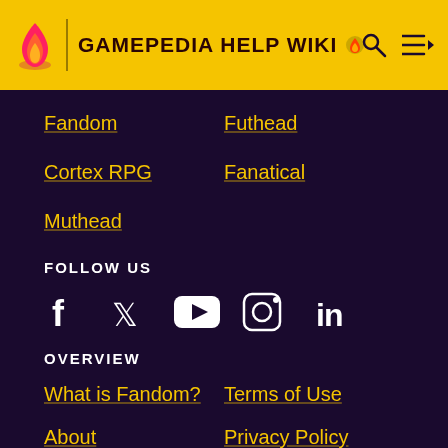GAMEPEDIA HELP WIKI
Fandom
Futhead
Cortex RPG
Fanatical
Muthead
FOLLOW US
[Figure (other): Social media icons: Facebook, Twitter, YouTube, Instagram, LinkedIn]
OVERVIEW
What is Fandom?
Terms of Use
About
Privacy Policy
Careers
Global Sitemap